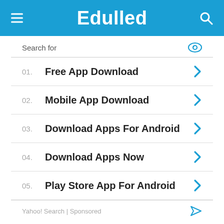Edulled
Search for
01. Free App Download
02. Mobile App Download
03. Download Apps For Android
04. Download Apps Now
05. Play Store App For Android
Yahoo! Search | Sponsored